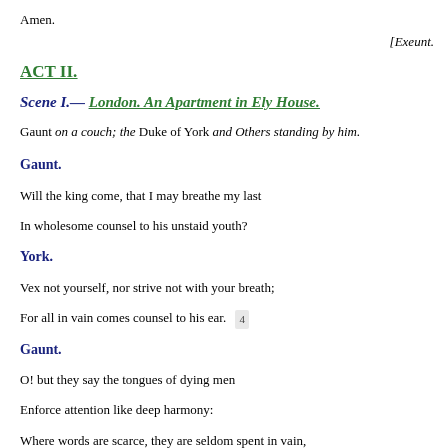Amen.
[Exeunt.
ACT II.
Scene I.— London. An Apartment in Ely House.
Gaunt on a couch; the Duke of York and Others standing by him.
Gaunt.
Will the king come, that I may breathe my last
In wholesome counsel to his unstaid youth?
York.
Vex not yourself, nor strive not with your breath;
For all in vain comes counsel to his ear.  4
Gaunt.
O! but they say the tongues of dying men
Enforce attention like deep harmony:
Where words are scarce, they are seldom spent in vain,
For they breathe truth that breathe their words in pain.  8
He that no more must say is listen'd more